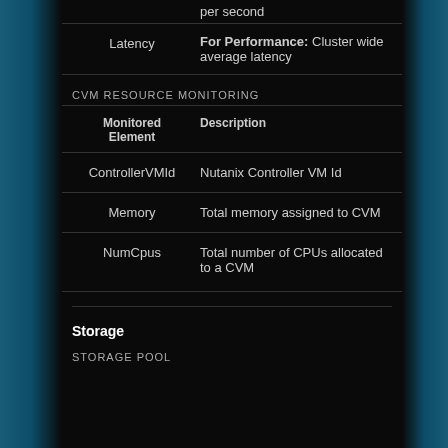| Monitored Element | Description |
| --- | --- |
|  | per second |
| Latency | For Performance: Cluster wide average latency |
CVM RESOURCE MONITORING
| Monitored Element | Description |
| --- | --- |
| ControllerVMId | Nutanix Controller VM Id |
| Memory | Total memory assigned to CVM |
| NumCpus | Total number of CPUs allocated to a CVM |
Storage
STORAGE POOL